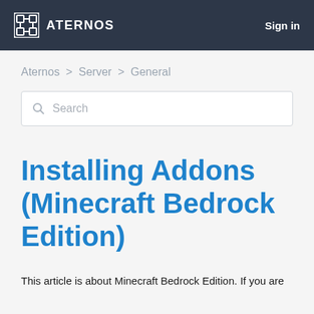ATERNOS  Sign in
Aternos > Server > General
Search
Installing Addons (Minecraft Bedrock Edition)
This article is about Minecraft Bedrock Edition. If you are